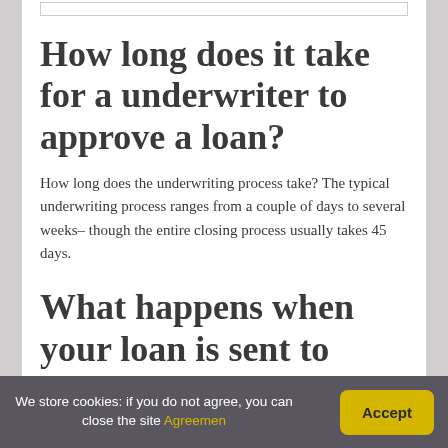How long does it take for a underwriter to approve a loan?
How long does the underwriting process take? The typical underwriting process ranges from a couple of days to several weeks– though the entire closing process usually takes 45 days.
What happens when your loan is sent to underwriting?
We store cookies: if you do not agree, you can close the site Agreemen